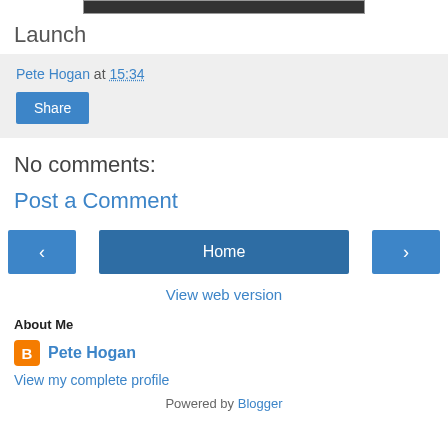[Figure (photo): Cropped top portion of a photo strip, dark/blurred image]
Launch
Pete Hogan at 15:34
Share
No comments:
Post a Comment
‹
Home
›
View web version
About Me
Pete Hogan
View my complete profile
Powered by Blogger